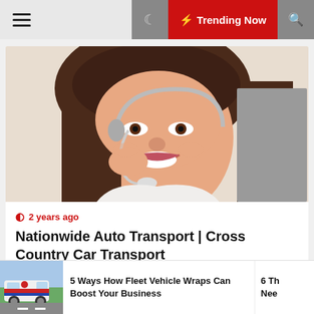☰  🌙  ⚡ Trending Now  🔍
[Figure (photo): Woman smiling while wearing a telephone headset, customer service representative]
🕐 2 years ago
Nationwide Auto Transport | Cross Country Car Transport
[Figure (photo): Gray placeholder image block]
[Figure (photo): Thumbnail image of a white fleet van with red and blue wrap graphics]
5 Ways How Fleet Vehicle Wraps Can Boost Your Business
6 Th Nee